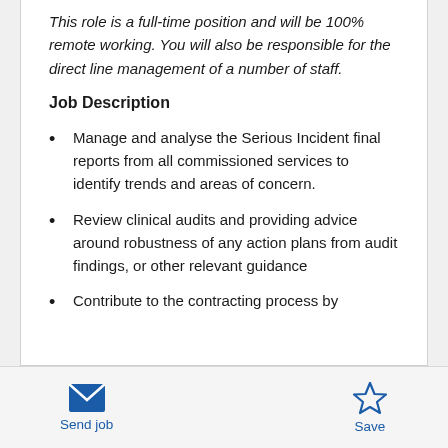This role is a full-time position and will be 100% remote working. You will also be responsible for the direct line management of a number of staff.
Job Description
Manage and analyse the Serious Incident final reports from all commissioned services to identify trends and areas of concern.
Review clinical audits and providing advice around robustness of any action plans from audit findings, or other relevant guidance
Contribute to the contracting process by
Send job
Save